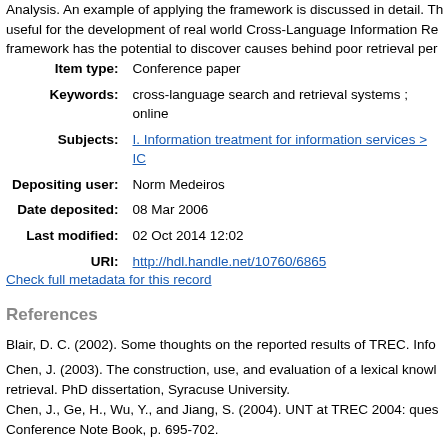Analysis. An example of applying the framework is discussed in detail. The framework is useful for the development of real world Cross-Language Information Retrieval systems. The framework has the potential to discover causes behind poor retrieval performance.
| Item type: | Conference paper |
| Keywords: | cross-language search and retrieval systems ; online... |
| Subjects: | I. Information treatment for information services > IC... |
| Depositing user: | Norm Medeiros |
| Date deposited: | 08 Mar 2006 |
| Last modified: | 02 Oct 2014 12:02 |
| URI: | http://hdl.handle.net/10760/6865 |
Check full metadata for this record
References
Blair, D. C. (2002). Some thoughts on the reported results of TREC. Info...
Chen, J. (2003). The construction, use, and evaluation of a lexical knowledge base for retrieval. PhD dissertation, Syracuse University.
Chen, J., Ge, H., Wu, Y., and Jiang, S. (2004). UNT at TREC 2004: ques... Conference Note Book, p. 695-702.
Conover, W. J. (1999). Practical Nonparametric Statistics. John Wiley an...
Dalrymple, P.W & Roderer, N. K. ( 1994). Database access systems. In V...